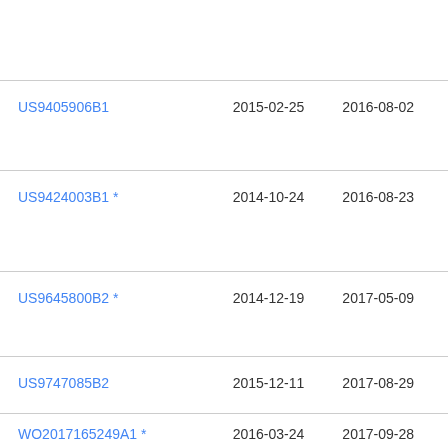| Publication number | Priority date | Publication date | Assignee |
| --- | --- | --- | --- |
| US9405906B1 | 2015-02-25 | 2016-08-02 | Ver |
| US9424003B1 * | 2014-10-24 | 2016-08-23 | Em
Cor |
| US9645800B2 * | 2014-12-19 | 2017-05-09 | Ver |
| US9747085B2 | 2015-12-11 | 2017-08-29 | Pay |
| WO2017165249A1 * | 2016-03-24 | 2017-09-28 | Mic |